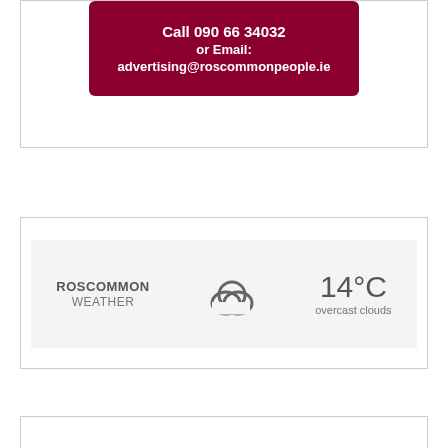[Figure (infographic): Dark red/maroon advertisement box with white bold text: 'Call 090 66 34032 or Email: advertising@roscommonpeople.ie']
[Figure (infographic): Weather widget showing ROSCOMMON WEATHER with cloud icon, 14°C, overcast clouds on a light grey background]
Follow us on Facebook